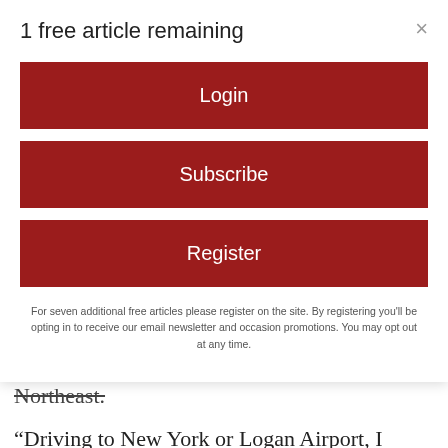1 free article remaining
Login
Subscribe
Register
For seven additional free articles please register on the site. By registering you'll be opting in to receive our email newsletter and occasion promotions. You may opt out at any time.
the shuttle service that takes passengers to airports, cities and other locations in the Northeast.
“Driving to New York or Logan Airport, I